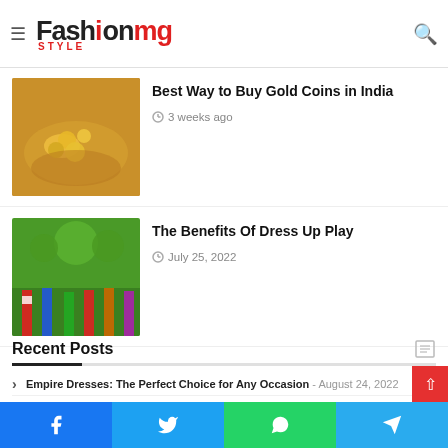FashionMG Style
Best Way to Buy Gold Coins in India
3 weeks ago
[Figure (photo): Hands holding gold coins]
The Benefits Of Dress Up Play
July 25, 2022
[Figure (photo): Children in superhero costumes outdoors]
Recent Posts
Empire Dresses: The Perfect Choice for Any Occasion - August 24, 2022
Follicular Unit Transplantation in Men. - August 24, 2022
Facebook Twitter WhatsApp Telegram